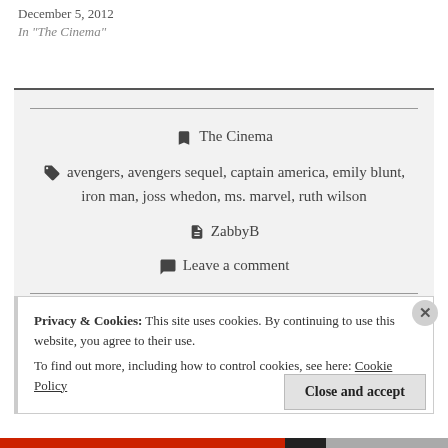December 5, 2012
In "The Cinema"
🔖 The Cinema
🏷 avengers, avengers sequel, captain america, emily blunt, iron man, joss whedon, ms. marvel, ruth wilson
📄 ZabbyB
💬 Leave a comment
Privacy & Cookies: This site uses cookies. By continuing to use this website, you agree to their use.
To find out more, including how to control cookies, see here: Cookie Policy
Close and accept